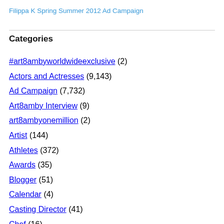Filippa K Spring Summer 2012 Ad Campaign
Categories
#art8ambyworldwideexclusive (2)
Actors and Actresses (9,143)
Ad Campaign (7,732)
Art8amby Interview (9)
art8ambyonemillion (2)
Artist (144)
Athletes (372)
Awards (35)
Blogger (51)
Calendar (4)
Casting Director (41)
Chef (16)
Cover (20,667)
Dancer (48)
Designers (2,509)